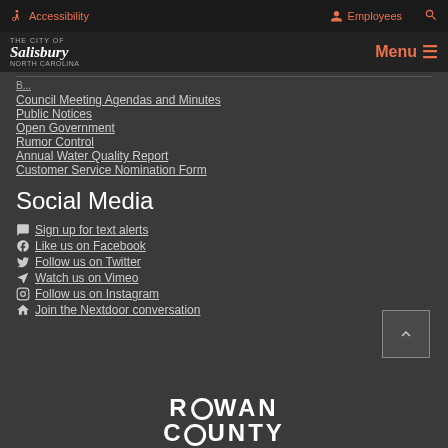Accessibility  Employees  Search
The City of Salisbury North Carolina  Menu
Council Meeting Agendas and Minutes
Public Notices
Open Government
Rumor Control
Annual Water Quality Report
Customer Service Nomination Form
Social Media
Sign up for text alerts
Like us on Facebook
Follow us on Twitter
Watch us on Vimeo
Follow us on Instagram
Join the Nextdoor conversation
[Figure (logo): Rowan County logo in white text on dark background]